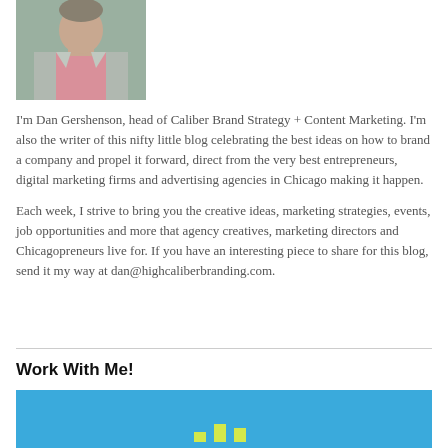[Figure (photo): Headshot of a man in a grey blazer and pink shirt, cropped at chest level, standing outdoors.]
I'm Dan Gershenson, head of Caliber Brand Strategy + Content Marketing. I'm also the writer of this nifty little blog celebrating the best ideas on how to brand a company and propel it forward, direct from the very best entrepreneurs, digital marketing firms and advertising agencies in Chicago making it happen.
Each week, I strive to bring you the creative ideas, marketing strategies, events, job opportunities and more that agency creatives, marketing directors and Chicagopreneurs live for. If you have an interesting piece to share for this blog, send it my way at dan@highcaliberbranding.com.
Work With Me!
[Figure (illustration): Blue banner/box at the bottom with partial yellow/green bar chart icons visible at the bottom edge.]